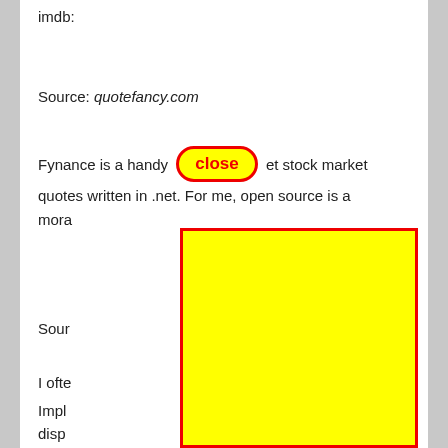imdb:
Source: quotefancy.com
Fynance is a handy [close] et stock market quotes written in .net. For me, open source is a mora
Sour
I ofte
Impl or disp
[Figure (other): Yellow rectangle with red border overlaying the page content]